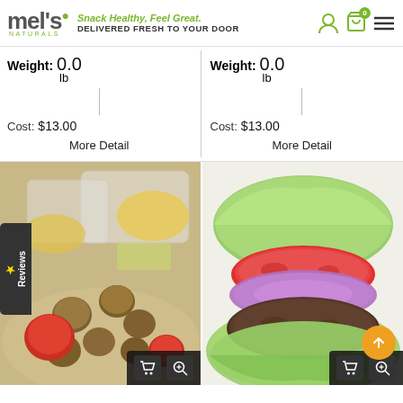mel's naturals — Snack Healthy, Feel Great. DELIVERED FRESH TO YOUR DOOR
Weight: 0.0 lb
Cost: $13.00
More Detail
Weight: 0.0 lb
Cost: $13.00
More Detail
[Figure (photo): Meal prep containers with fried food balls (falafel-style), scrambled eggs, ketchup dipping sauce on a tray]
[Figure (photo): A burger patty wrapped in lettuce with tomato and red onion slices on a white background]